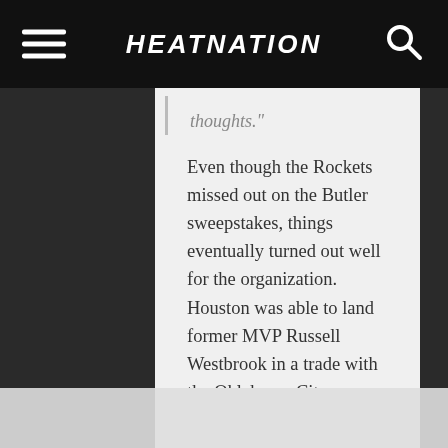HEATNATION
thoughts."
Even though the Rockets missed out on the Butler sweepstakes, things eventually turned out well for the organization. Houston was able to land former MVP Russell Westbrook in a trade with the Oklahoma City Thunder. They currently lay claim to the No. 5 seed in the Western Conference.